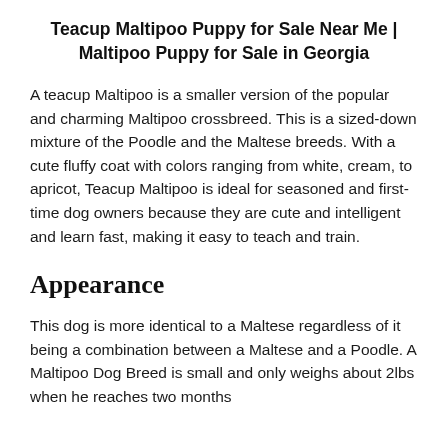Teacup Maltipoo Puppy for Sale Near Me | Maltipoo Puppy for Sale in Georgia
A teacup Maltipoo is a smaller version of the popular and charming Maltipoo crossbreed. This is a sized-down mixture of the Poodle and the Maltese breeds. With a cute fluffy coat with colors ranging from white, cream, to apricot, Teacup Maltipoo is ideal for seasoned and first-time dog owners because they are cute and intelligent and learn fast, making it easy to teach and train.
Appearance
This dog is more identical to a Maltese regardless of it being a combination between a Maltese and a Poodle. A Maltipoo Dog Breed is small and only weighs about 2lbs when he reaches two months